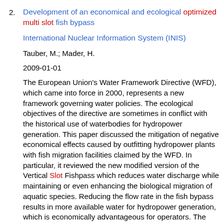2. Development of an economical and ecological optimized multi slot fish bypass
International Nuclear Information System (INIS)
Tauber, M.; Mader, H.
2009-01-01
The European Union's Water Framework Directive (WFD), which came into force in 2000, represents a new framework governing water policies. The ecological objectives of the directive are sometimes in conflict with the historical use of waterbodies for hydropower generation. This paper discussed the mitigation of negative economical effects caused by outfitting hydropower plants with fish migration facilities claimed by the WFD. In particular, it reviewed the new modified version of the Vertical Slot Fishpass which reduces water discharge while maintaining or even enhancing the biological migration of aquatic species. Reducing the flow rate in the fish bypass results in more available water for hydropower generation, which is economically advantageous for operators. The available water resource is simply used more efficiently. The